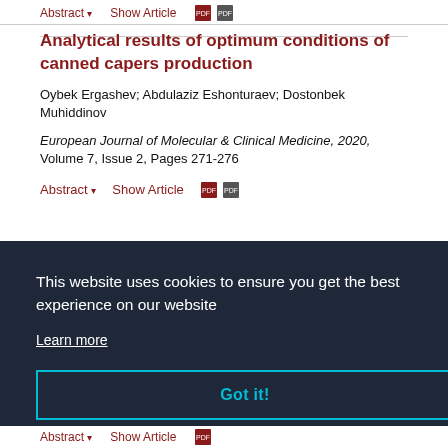Abstract ▾   Show Article   [PDF icons]
Analytical results of optimum conditions of canned capers production
Oybek Ergashev; Abdulaziz Eshonturaev; Dostonbek Muhiddinov
European Journal of Molecular & Clinical Medicine, 2020, Volume 7, Issue 2, Pages 271-276
Abstract ▾   Show Article   [PDF icons]
This website uses cookies to ensure you get the best experience on our website
Learn more
Got it!
Abstract ▾   Show Article   [PDF icons]